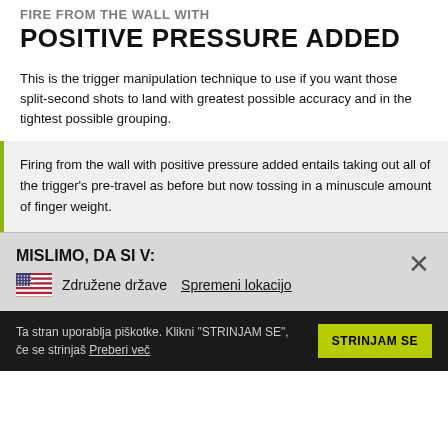POSITIVE PRESSURE ADDED
This is the trigger manipulation technique to use if you want those split-second shots to land with greatest possible accuracy and in the tightest possible grouping.
Firing from the wall with positive pressure added entails taking out all of the trigger's pre-travel as before but now tossing in a minuscule amount of finger weight.
MISLIMO, DA SI V:
Združene države   Spremeni lokacijo
Ta stran uporablja piškotke. Klikni "STRINJAM SE", če se strinjaš Preberi več